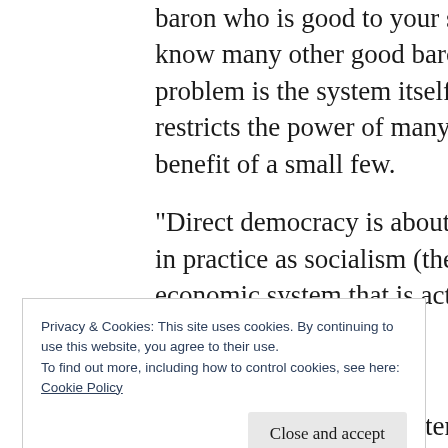baron who is good to your serfs and know many other good barons. The problem is the system itself which restricts the power of many for the benefit of a small few.
“Direct democracy is about as disastrous in practice as socialism (the one economic system that is actually
Privacy & Cookies: This site uses cookies. By continuing to use this website, you agree to their use.
To find out more, including how to control cookies, see here:
Cookie Policy
political science, this sentence